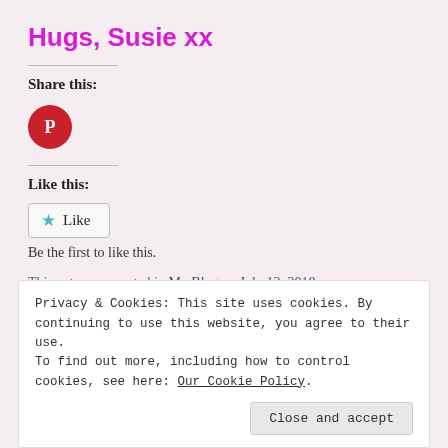Hugs, Susie xx
Share this:
[Figure (logo): Pinterest red circular button with white P icon]
Like this:
★ Like
Be the first to like this.
This entry was posted in My Blog on July 12, 2018.
Privacy & Cookies: This site uses cookies. By continuing to use this website, you agree to their use. To find out more, including how to control cookies, see here: Our Cookie Policy
Close and accept